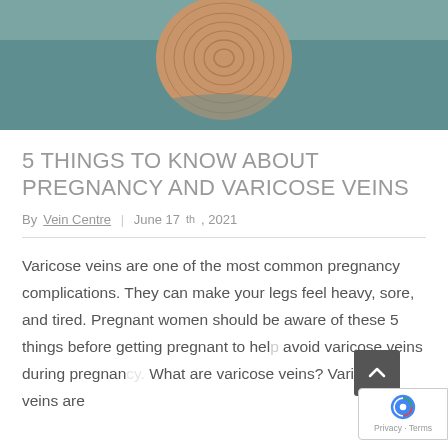[Figure (photo): Overhead photo of a woven straw sun hat on a teal/blue fabric background]
5 THINGS TO KNOW ABOUT PREGNANCY AND VARICOSE VEINS
By Vein Centre  |  June 17th, 2021
Varicose veins are one of the most common pregnancy complications. They can make your legs feel heavy, sore, and tired. Pregnant women should be aware of these 5 things before getting pregnant to help avoid varicose veins during pregnancy. What are varicose veins? Varicose veins are